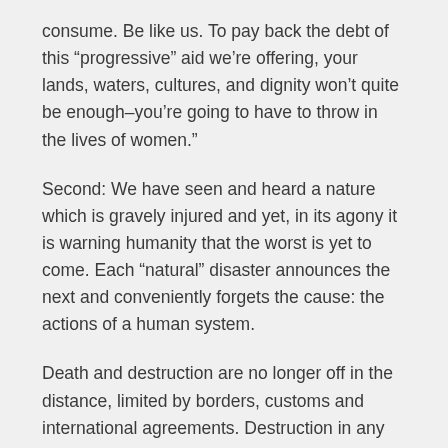consume. Be like us. To pay back the debt of this “progressive” aid we’re offering, your lands, waters, cultures, and dignity won’t quite be enough–you’re going to have to throw in the lives of women.”
Second: We have seen and heard a nature which is gravely injured and yet, in its agony it is warning humanity that the worst is yet to come. Each “natural” disaster announces the next and conveniently forgets the cause: the actions of a human system.
Death and destruction are no longer off in the distance, limited by borders, customs and international agreements. Destruction in any corner of the world has repercussions on the whole planet.
Third: We see and hear the powerful retreating and taking cover within the so-called nation-states and their walls. In